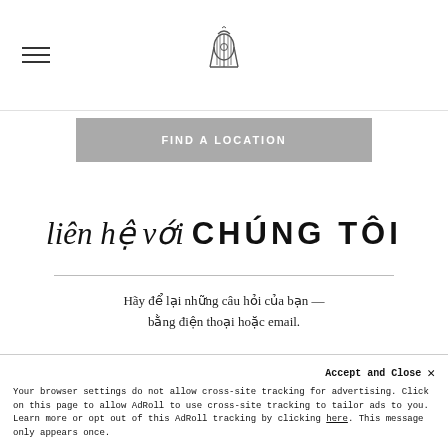[Hamburger menu icon] [Decorative lyre logo]
FIND A LOCATION
liên hệ với CHÚNG TÔI
Hãy để lại những câu hỏi của bạn — bằng điện thoại hoặc email.
[Figure (illustration): Phone icon and email envelope icon side by side]
Accept and Close ×
Your browser settings do not allow cross-site tracking for advertising. Click on this page to allow AdRoll to use cross-site tracking to tailor ads to you. Learn more or opt out of this AdRoll tracking by clicking here. This message only appears once.